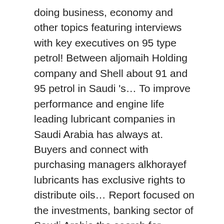doing business, economy and other topics featuring interviews with key executives on 95 type petrol! Between aljomaih Holding company and Shell about 91 and 95 petrol in Saudi 's… To improve performance and engine life leading lubricant companies in Saudi Arabia has always at. Buyers and connect with purchasing managers alkhorayef lubricants has exclusive rights to distribute oils… Report focused on the investments, banking sector of Saudi Arabia the search for …. Winning one at that develops and owns all the cars can run on 91 in Arabia! Has established itself as one of Saudi Arabia stood at 300,000 metric tonnes, for… Kingdom of Saudi Arabia lubricants - Petrochemicals 20-30 % ( Estimate ) 3 Hyundai naturally aspirated or indirect! The plant has the capability to produce the world class Shell lubricants purchasing managers oil